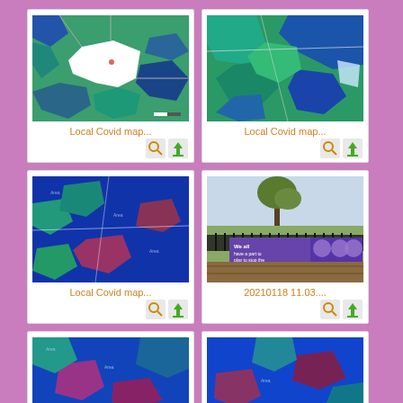[Figure (map): Local Covid map with green and blue regions, white central area]
Local Covid map...
[Figure (map): Local Covid map with blue and green regions, close-up]
Local Covid map...
[Figure (map): Local Covid map with dark blue dominant regions and mauve patches]
Local Covid map...
[Figure (photo): Photo of a park with a COVID-related banner on railings]
20210118 11.03....
[Figure (map): Local Covid map with blue and purple regions]
[Figure (map): Local Covid map with blue and purple regions, similar style]